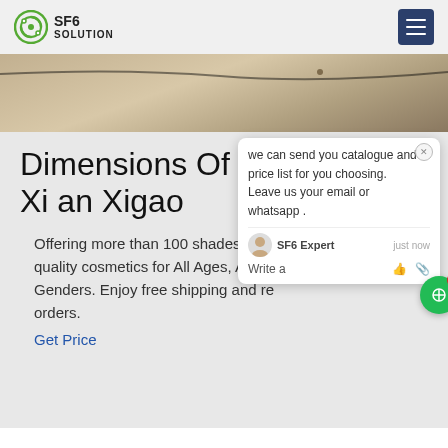SF6 SOLUTION
[Figure (photo): Top hero image showing a cable or wire over sandy/earthy surface]
Dimensions Of col Xi an Xigao
Offering more than 100 shades of p quality cosmetics for All Ages, A Genders. Enjoy free shipping and re orders.
Get Price
[Figure (screenshot): Chat popup: we can send you catalogue and price list for you choosing. Leave us your email or whatsapp. SF6 Expert - just now. Write a message.]
[Figure (photo): Bottom image strip showing partial photo]